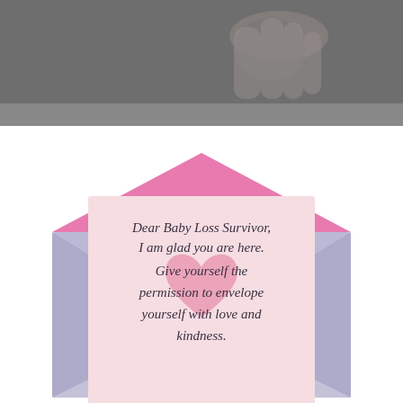[Figure (photo): Top portion shows a close-up photo of a hand holding something, on a dark gray background.]
[Figure (illustration): Illustration of a lavender envelope with a pink flap open, a light pink card emerging from it bearing a heart shape and italic text reading: Dear Baby Loss Survivor, I am glad you are here. Give yourself the permission to envelope yourself with love and kindness.]
Dear Baby Loss Survivor, I am glad you are here. Give yourself the permission to envelope yourself with love and kindness.